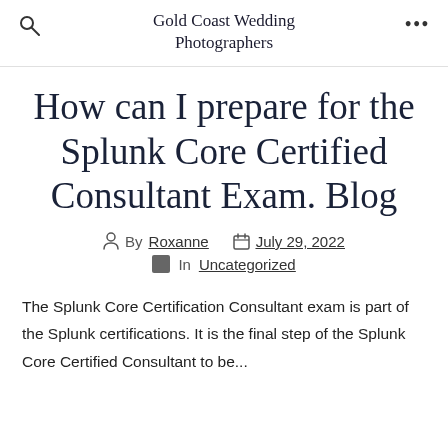Gold Coast Wedding Photographers
How can I prepare for the Splunk Core Certified Consultant Exam. Blog
By Roxanne   July 29, 2022   In Uncategorized
The Splunk Core Certification Consultant exam is part of the Splunk certifications. It is the final step of the Splunk Core Certified Consultant to be...